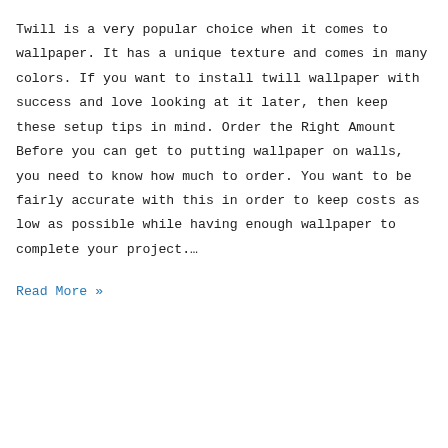Twill is a very popular choice when it comes to wallpaper. It has a unique texture and comes in many colors. If you want to install twill wallpaper with success and love looking at it later, then keep these setup tips in mind. Order the Right Amount Before you can get to putting wallpaper on walls, you need to know how much to order. You want to be fairly accurate with this in order to keep costs as low as possible while having enough wallpaper to complete your project.…
Read More »